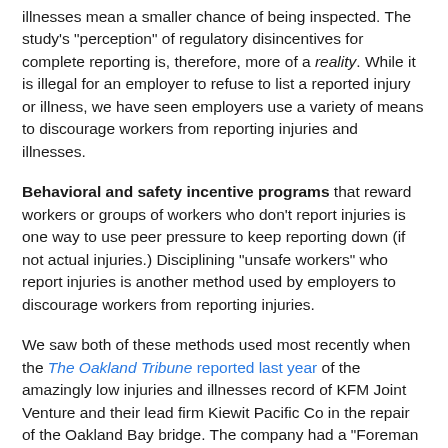illnesses mean a smaller chance of being inspected. The study's "perception" of regulatory disincentives for complete reporting is, therefore, more of a reality. While it is illegal for an employer to refuse to list a reported injury or illness, we have seen employers use a variety of means to discourage workers from reporting injuries and illnesses.
Behavioral and safety incentive programs that reward workers or groups of workers who don't report injuries is one way to use peer pressure to keep reporting down (if not actual injuries.) Disciplining "unsafe workers" who report injuries is another method used by employers to discourage workers from reporting injuries.
We saw both of these methods used most recently when the The Oakland Tribune reported last year of the amazingly low injuries and illnesses record of KFM Joint Venture and their lead firm Kiewit Pacific Co in the repair of the Oakland Bay bridge. The company had a "Foreman Safety incentive Program" in which they doled out $100 to $2,500 bonuses, depending on the number of worker hours logged without a recordable injury. Crews were given cash bonuses for not